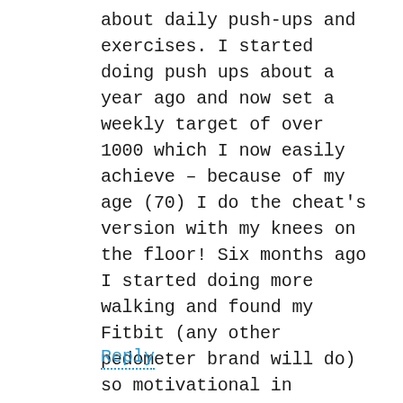about daily push-ups and exercises. I started doing push ups about a year ago and now set a weekly target of over 1000 which I now easily achieve – because of my age (70) I do the cheat's version with my knees on the floor! Six months ago I started doing more walking and found my Fitbit (any other pedometer brand will do) so motivational in helping me achieve my daily goal of 12,000 steps. I have been known to get out of bed around 11pm and walk around the block when I discover I have not quite reached my target!
Reply